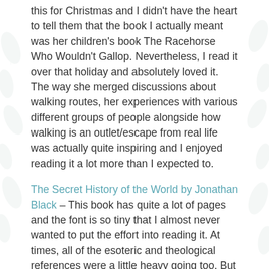this for Christmas and I didn't have the heart to tell them that the book I actually meant was her children's book The Racehorse Who Wouldn't Gallop. Nevertheless, I read it over that holiday and absolutely loved it. The way she merged discussions about walking routes, her experiences with various different groups of people alongside how walking is an outlet/escape from real life was actually quite inspiring and I enjoyed reading it a lot more than I expected to.
The Secret History of the World by Jonathan Black – This book has quite a lot of pages and the font is so tiny that I almost never wanted to put the effort into reading it. At times, all of the esoteric and theological references were a little heavy going too. But when I finally did get into it, it was actually more intriguing and interesting than I'd originally given it...